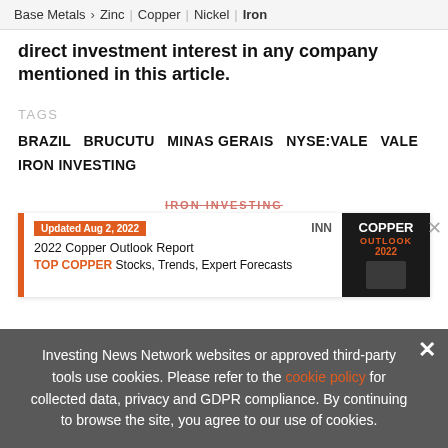Base Metals > Zinc | Copper | Nickel | Iron
direct investment interest in any company mentioned in this article.
TAGS
BRAZIL  BRUCUTU  MINAS GERAIS  NYSE:VALE  VALE  IRON INVESTING
[Figure (screenshot): Advertisement banner for 2022 Copper Outlook Report with 'IRON INVESTING' label. Updated Aug 2, 2022. INN. TOP COPPER Stocks, Trends, Expert Forecasts. Image of Copper Outlook 2022 report cover on dark background.]
Investing News Network websites or approved third-party tools use cookies. Please refer to the cookie policy for collected data, privacy and GDPR compliance. By continuing to browse the site, you agree to our use of cookies.